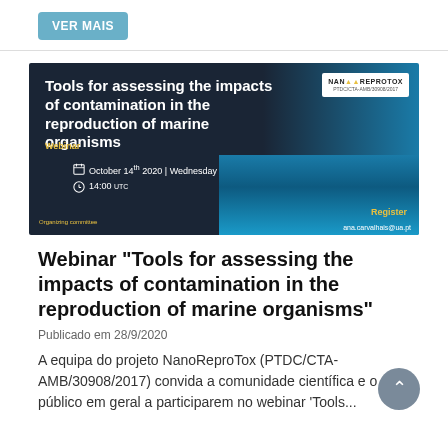VER MAIS
[Figure (illustration): Webinar promotional banner for 'Tools for assessing the impacts of contamination in the reproduction of marine organisms'. Dark blue/teal background with ocean imagery. Shows date October 14th 2020, Wednesday, 14:00 UTC. NanoReProtox logo top right. Register contact: ana.carvalhais@ua.pt. Organizing committee label bottom left.]
Webinar "Tools for assessing the impacts of contamination in the reproduction of marine organisms"
Publicado em 28/9/2020
A equipa do projeto NanoReproTox (PTDC/CTA-AMB/30908/2017) convida a comunidade científica e o público em geral a participarem no webinar 'Tools...